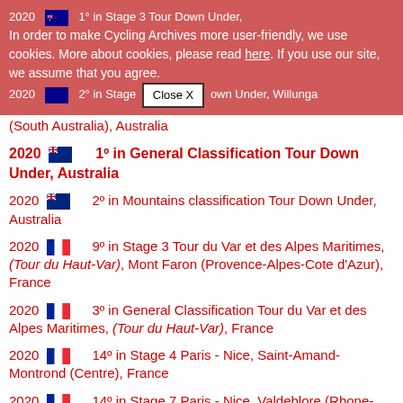Cookie banner: In order to make Cycling Archives more user-friendly, we use cookies. More about cookies, please read here. If you use our site, we assume that you agree. [Close X]
2020 [AU] 1° in Stage 3 Tour Down Under, Paracombe (South Australia), Australia
2020 [AU] 2° in Stage 4 Tour Down Under, Willunga (South Australia), Australia
2020 [AU] 1° in General Classification Tour Down Under, Australia
2020 [AU] 2° in Mountains classification Tour Down Under, Australia
2020 [FR] 9° in Stage 3 Tour du Var et des Alpes Maritimes, (Tour du Haut-Var), Mont Faron (Provence-Alpes-Cote d'Azur), France
2020 [FR] 3° in General Classification Tour du Var et des Alpes Maritimes, (Tour du Haut-Var), France
2020 [FR] 14° in Stage 4 Paris - Nice, Saint-Amand-Montrond (Centre), France
2020 [FR] 14° in Stage 7 Paris - Nice, Valdeblore (Rhone-Alpes), France
2020 [FR] 7° in Stage 3 Route d'Occitanie / Tour Midi Pyrénées / Tour du Tarn, (Route du Sud), France
2020 [FR] 8° in Stage 4 Route d'Occitanie / Tour Midi Pyrénées / Tour du Tarn, (Route du Sud), Rocamadour (Midi-Pyrenees), France